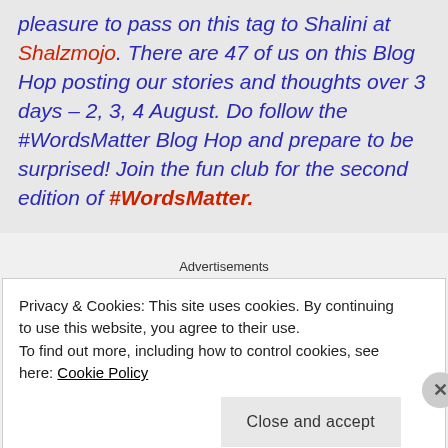pleasure to pass on this tag to Shalini at Shalzmojo. There are 47 of us on this Blog Hop posting our stories and thoughts over 3 days – 2, 3, 4 August. Do follow the #WordsMatter Blog Hop and prepare to be surprised! Join the fun club for the second edition of #WordsMatter.
Advertisements
Privacy & Cookies: This site uses cookies. By continuing to use this website, you agree to their use. To find out more, including how to control cookies, see here: Cookie Policy
Close and accept